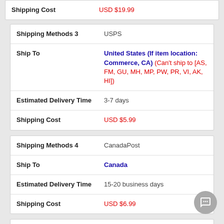| Field | Value |
| --- | --- |
| Shipping Cost | USD $19.99 |
| Field | Value |
| --- | --- |
| Shipping Methods 3 | USPS |
| Ship To | United States (If item location: Commerce, CA) (Can't ship to [AS, FM, GU, MH, MP, PW, PR, VI, AK, HI]) |
| Estimated Delivery Time | 3-7 days |
| Shipping Cost | USD $5.99 |
| Field | Value |
| --- | --- |
| Shipping Methods 4 | CanadaPost |
| Ship To | Canada |
| Estimated Delivery Time | 15-20 business days |
| Shipping Cost | USD $6.99 |
| Field | Value |
| --- | --- |
| Shipping Methods 5 | Hermes |
| Ship To | United Kingdom |